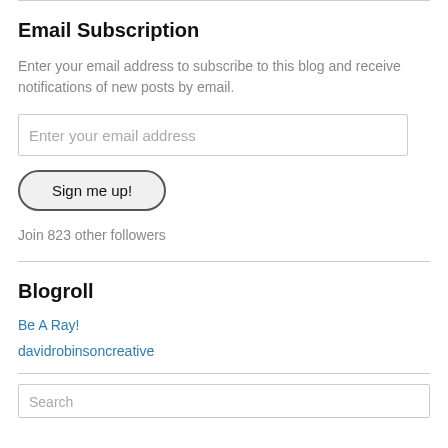Email Subscription
Enter your email address to subscribe to this blog and receive notifications of new posts by email.
Enter your email address
Sign me up!
Join 823 other followers
Blogroll
Be A Ray!
davidrobinsoncreative